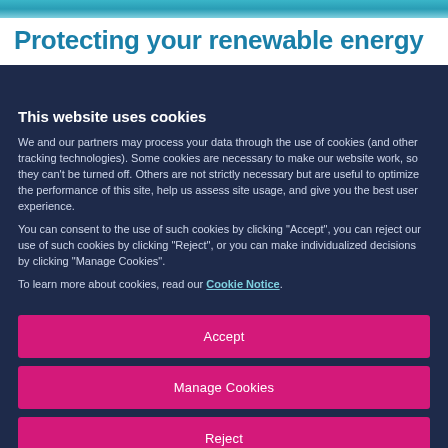Protecting your renewable energy
This website uses cookies
We and our partners may process your data through the use of cookies (and other tracking technologies). Some cookies are necessary to make our website work, so they can't be turned off. Others are not strictly necessary but are useful to optimize the performance of this site, help us assess site usage, and give you the best user experience.
You can consent to the use of such cookies by clicking "Accept", you can reject our use of such cookies by clicking "Reject", or you can make individualized decisions by clicking "Manage Cookies".
To learn more about cookies, read our Cookie Notice.
Accept
Manage Cookies
Reject